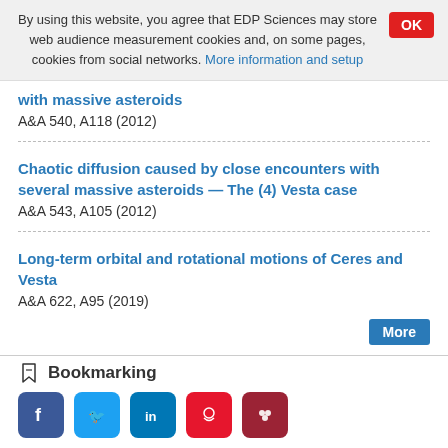By using this website, you agree that EDP Sciences may store web audience measurement cookies and, on some pages, cookies from social networks. More information and setup
with massive asteroids
A&A 540, A118 (2012)
Chaotic diffusion caused by close encounters with several massive asteroids — The (4) Vesta case
A&A 543, A105 (2012)
Long-term orbital and rotational motions of Ceres and Vesta
A&A 622, A95 (2019)
Bookmarking
[Figure (other): Social media bookmarking icons: Facebook, Twitter, LinkedIn, Weibo, Mendeley]